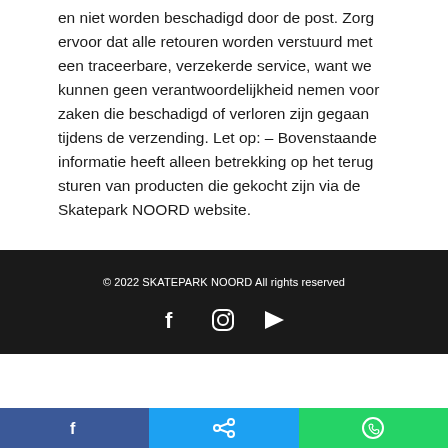en niet worden beschadigd door de post. Zorg ervoor dat alle retouren worden verstuurd met een traceerbare, verzekerde service, want we kunnen geen verantwoordelijkheid nemen voor zaken die beschadigd of verloren zijn gegaan tijdens de verzending. Let op: – Bovenstaande informatie heeft alleen betrekking op het terug sturen van producten die gekocht zijn via de Skatepark NOORD website.
© 2022 SKATEPARK NOORD All rights reserved